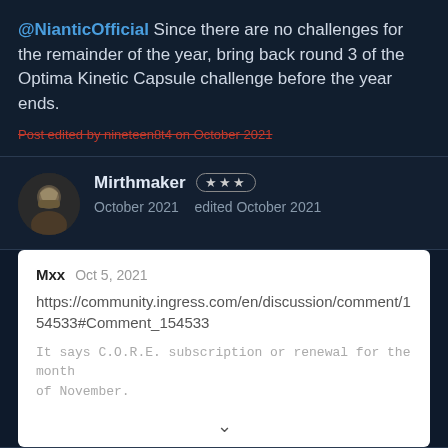@NianticOfficial Since there are no challenges for the remainder of the year, bring back round 3 of the Optima Kinetic Capsule challenge before the year ends.
Post edited by nineteen8t4 on October 2021
Mirthmaker ★★★ October 2021   edited October 2021
Mxx  Oct 5, 2021
https://community.ingress.com/en/discussion/comment/154533#Comment_154533
It says C.O.R.E. subscription or renewal for the month of November.
Half of us have a date PRIOR to Nov. 15 and the top line was NOT crystal clear.